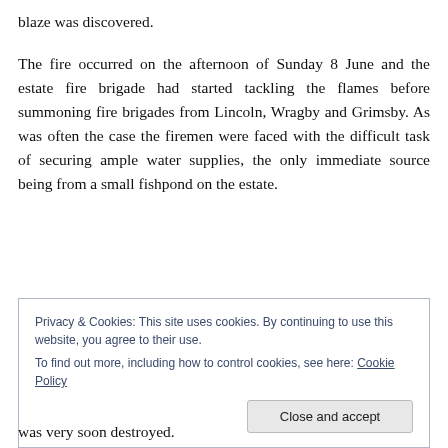blaze was discovered.
The fire occurred on the afternoon of Sunday 8 June and the estate fire brigade had started tackling the flames before summoning fire brigades from Lincoln, Wragby and Grimsby. As was often the case the firemen were faced with the difficult task of securing ample water supplies, the only immediate source being from a small fishpond on the estate.
Privacy & Cookies: This site uses cookies. By continuing to use this website, you agree to their use.
To find out more, including how to control cookies, see here: Cookie Policy
was very soon destroyed.